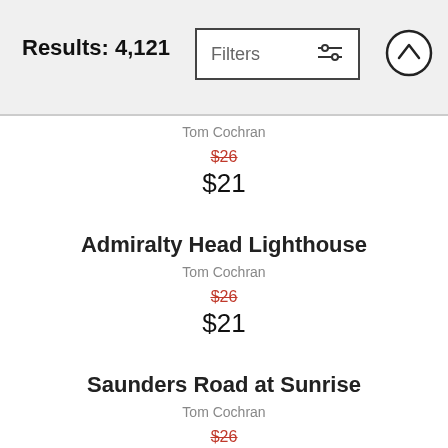Results: 4,121
Tom Cochran
$26 (strikethrough) $21
Admiralty Head Lighthouse
Tom Cochran
$26 (strikethrough) $21
Saunders Road at Sunrise
Tom Cochran
$26 (strikethrough)